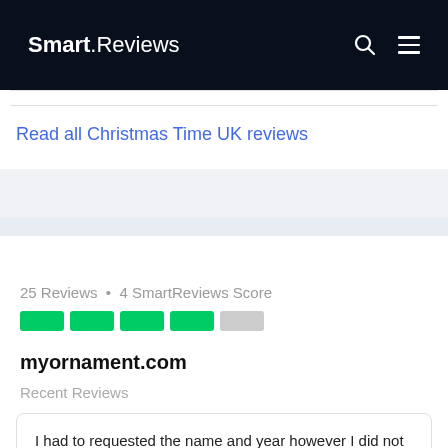Smart.Reviews
Read all Christmas Time UK reviews
25 Reviews • 4 SmartReviews Score
myornament.com
Recent Reviews
I had to requested the name and year however I did not